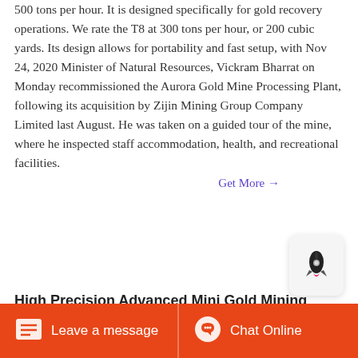500 tons per hour. It is designed specifically for gold recovery operations. We rate the T8 at 300 tons per hour, or 200 cubic yards. Its design allows for portability and fast setup, with Nov 24, 2020 Minister of Natural Resources, Vickram Bharrat on Monday recommissioned the Aurora Gold Mine Processing Plant, following its acquisition by Zijin Mining Group Company Limited last August. He was taken on a guided tour of the mine, where he inspected staff accommodation, health, and recreational facilities.
Get More →
High Precision Advanced Mini Gold Mining Products
[Figure (photo): Photo of winter trees with bare branches against a light sky, with a red structure visible at the bottom right]